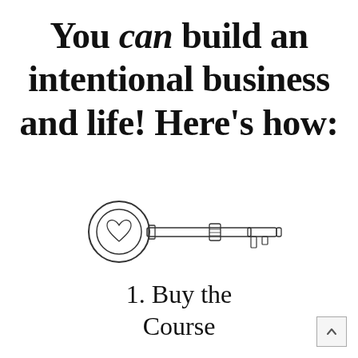You can build an intentional business and life! Here's how:
[Figure (illustration): Line drawing illustration of an old-fashioned skeleton key, pointing right, with a round bow on the left and teeth on the right end.]
1. Buy the Course